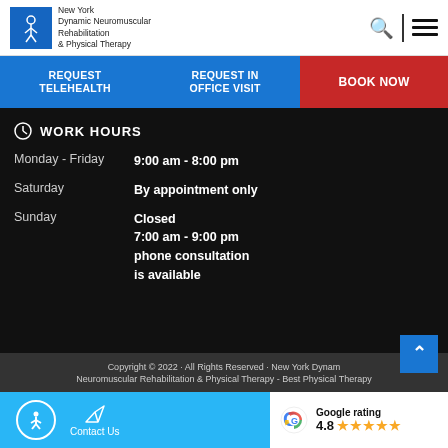[Figure (logo): New York Dynamic Neuromuscular Rehabilitation & Physical Therapy logo with blue box and person figure]
New York Dynamic Neuromuscular Rehabilitation & Physical Therapy
REQUEST TELEHEALTH
REQUEST IN OFFICE VISIT
BOOK NOW
WORK HOURS
Monday - Friday   9:00 am - 8:00 pm
Saturday   By appointment only
Sunday   Closed
7:00 am - 9:00 pm
phone consultation
is available
Copyright © 2022 · All Rights Reserved · New York Dynamic Neuromuscular Rehabilitation & Physical Therapy - Best Physical Therapy
Contact Us
Google rating
4.8 ★★★★★